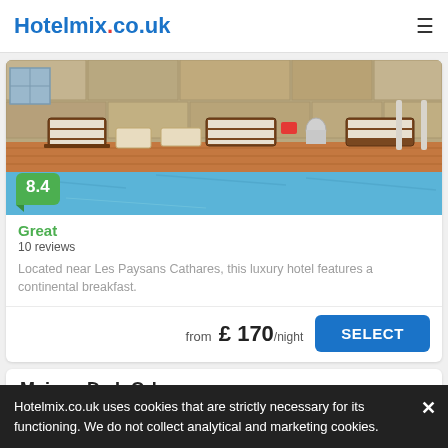Hotelmix.co.uk
[Figure (photo): Hotel outdoor swimming pool with lounge chairs on wooden deck, stone wall background, blue water]
Great
10 reviews
Located near Les Paysans Cathares, this luxury hotel features a continental breakfast.
from £ 170/night SELECT
Maison De L Orb
Hotelmix.co.uk uses cookies that are strictly necessary for its functioning. We do not collect analytical and marketing cookies.